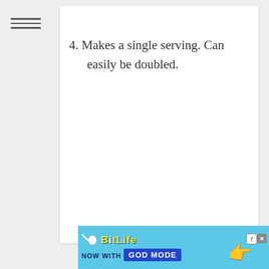4. Makes a single serving. Can easily be doubled.
[Figure (other): BitLife advertisement banner: 'BitLife NOW WITH GOD MODE' with hand pointing graphic on blue background]